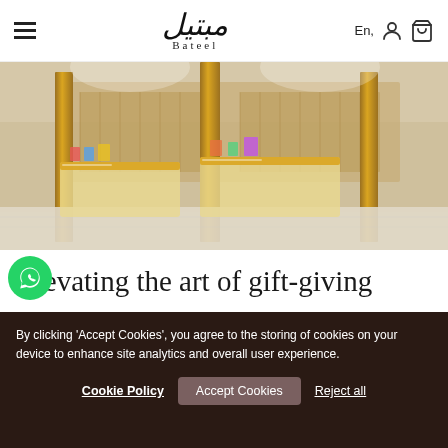Bateel — navigation bar with hamburger menu, logo, language selector, account icon, cart icon
[Figure (photo): Interior of a Bateel luxury store showing gold display cases, counters with products, warm lighting, marble floors]
Elevating the art of gift-giving
Bateel is the ultimate indulgence and gifting destination. Our luxurious
By clicking 'Accept Cookies', you agree to the storing of cookies on your device to enhance site analytics and overall user experience.
Cookie Policy   Accept Cookies   Reject all